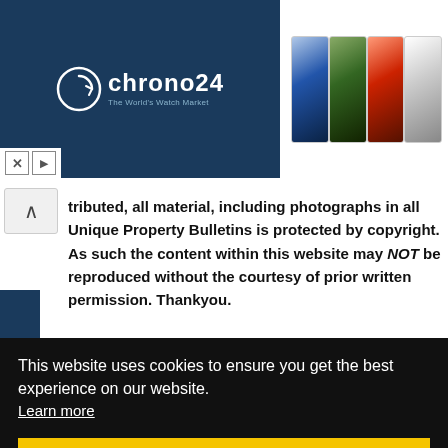[Figure (screenshot): Chrono24 banner advertisement with logo on dark blue background and four watch thumbnail images]
tributed, all material, including photographs in all Unique Property Bulletins is protected by copyright. As such the content within this website may NOT be reproduced without the courtesy of prior written permission. Thankyou.

The Unique Property Bulletin is usually published online at
This website uses cookies to ensure you get the best experience on our website. Learn more
Got it!
WordPress